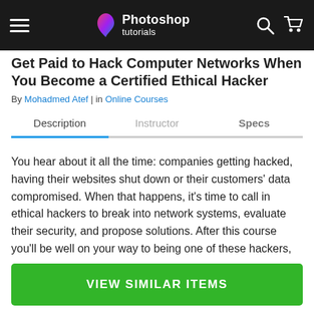Photoshop tutorials
Get Paid to Hack Computer Networks When You Become a Certified Ethical Hacker
By Mohadmed Atef | in Online Courses
Description | Instructor | Specs
You hear about it all the time: companies getting hacked, having their websites shut down or their customers' data compromised. When that happens, it's time to call in ethical hackers to break into network systems, evaluate their security, and propose solutions. After this course you'll be well on your way to being one of these hackers, paid generously to hack networks, apps, emails, social media